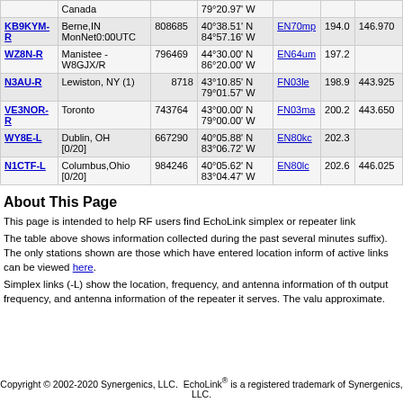| Callsign | Location | Node | Coordinates | Grid | Dist | Freq |
| --- | --- | --- | --- | --- | --- | --- |
|  | Canada |  | 79°20.97' W |  |  |  |
| KB9KYM-R | Berne,IN MonNet0:00UTC | 808685 | 40°38.51' N 84°57.16' W | EN70mp | 194.0 | 146.970 |
| WZ8N-R | Manistee - W8GJX/R | 796469 | 44°30.00' N 86°20.00' W | EN64um | 197.2 |  |
| N3AU-R | Lewiston, NY (1) | 8718 | 43°10.85' N 79°01.57' W | FN03le | 198.9 | 443.925 |
| VE3NOR-R | Toronto | 743764 | 43°00.00' N 79°00.00' W | FN03ma | 200.2 | 443.650 |
| WY8E-L | Dublin, OH [0/20] | 667290 | 40°05.88' N 83°06.72' W | EN80kc | 202.3 |  |
| N1CTF-L | Columbus,Ohio [0/20] | 984246 | 40°05.62' N 83°04.47' W | EN80lc | 202.6 | 446.025 |
About This Page
This page is intended to help RF users find EchoLink simplex or repeater link
The table above shows information collected during the past several minutes (suffix). The only stations shown are those which have entered location inform of active links can be viewed here.
Simplex links (-L) show the location, frequency, and antenna information of th output frequency, and antenna information of the repeater it serves. The valu approximate.
Copyright © 2002-2020 Synergenics, LLC.  EchoLink® is a registered trademark of Synergenics, LLC.